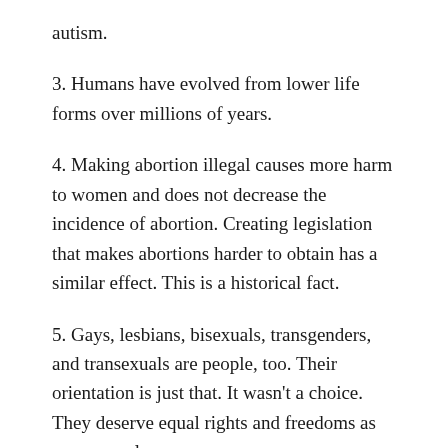autism.
3. Humans have evolved from lower life forms over millions of years.
4. Making abortion illegal causes more harm to women and does not decrease the incidence of abortion. Creating legislation that makes abortions harder to obtain has a similar effect. This is a historical fact.
5. Gays, lesbians, bisexuals, transgenders, and transexuals are people, too. Their orientation is just that. It wasn’t a choice. They deserve equal rights and freedoms as everyone else.
Why I Try Not to Pay Attention to